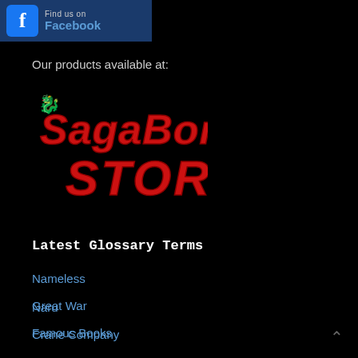[Figure (logo): Facebook 'Find us on Facebook' banner with blue Facebook icon and text]
Our products available at:
[Figure (logo): SagaBorn Store logo in red stylized fantasy font on black background]
Latest Glossary Terms
Nameless
Great War
Famous Books
Naru
Crane Company